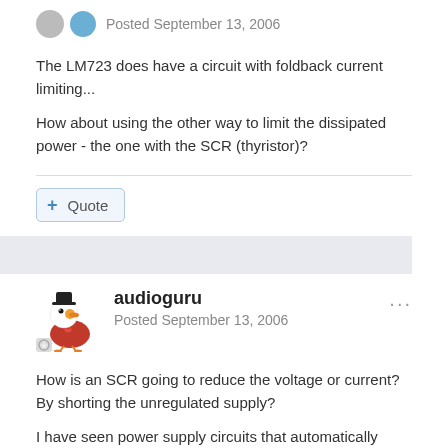Posted September 13, 2006
The LM723 does have a circuit with foldback current limiting...
How about using the other way to limit the dissipated power - the one with the SCR (thyristor)?
Quote
audioguru
Posted September 13, 2006
How is an SCR going to reduce the voltage or current? By shorting the unregulated supply?
I have seen power supply circuits that automatically switch taps on the transformer to lower voltages when the output voltage is reduced.